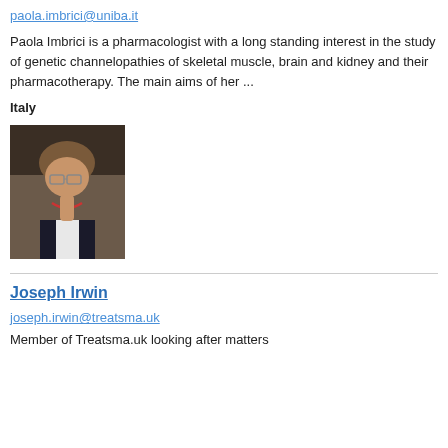paola.imbrici@uniba.it
Paola Imbrici is a pharmacologist with a long standing interest in the study of genetic channelopathies of skeletal muscle, brain and kidney and their pharmacotherapy. The main aims of her ...
Italy
[Figure (photo): Portrait photo of a woman with glasses and short curly hair, wearing a white top and red necklace, dark background]
Joseph Irwin
joseph.irwin@treatsma.uk
Member of Treatsma.uk looking after matters